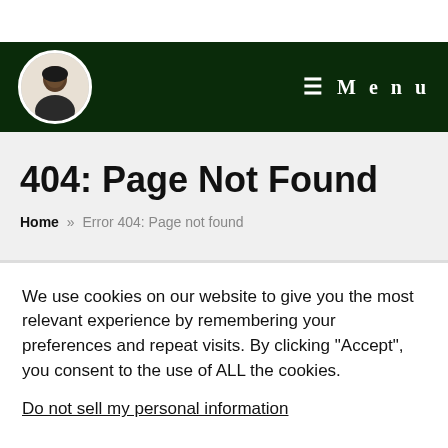Menu
404: Page Not Found
Home » Error 404: Page not found
We use cookies on our website to give you the most relevant experience by remembering your preferences and repeat visits. By clicking “Accept”, you consent to the use of ALL the cookies.
Do not sell my personal information.
Cookie Settings | Accept